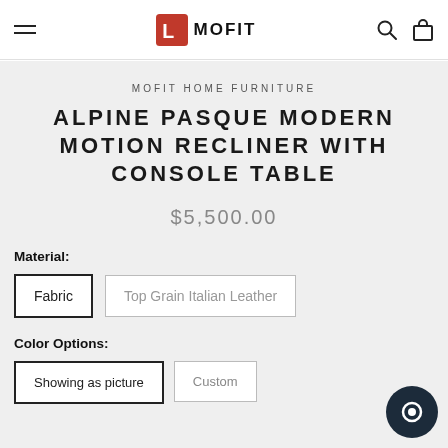MOFIT
MOFIT HOME FURNITURE
ALPINE PASQUE MODERN MOTION RECLINER WITH CONSOLE TABLE
$5,500.00
Material:
Fabric
Top Grain Italian Leather
Color Options:
Showing as picture
Custom